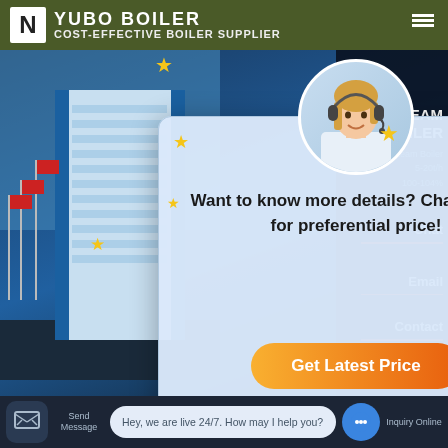COST-EFFECTIVE BOILER SUPPLIER
[Figure (screenshot): Website screenshot showing a boiler supplier page with a chat popup modal overlaying a building/industrial background. The popup has an avatar of a woman with a headset, star decorations, text 'Want to know more details? Chat with us for preferential price!' and a 'Get Latest Price' orange button. Right sidebar shows 'STEAM BOILER' product details with Chat, Email, Contact labels. Bottom shows 'Industrial 2t Coal Bo...' heading with WhatsApp icons and 'Contact us now!' bubbles.]
Want to know more details? Chat with us for preferential price!
Get Latest Price
STEAM BOILER
Steam Boiler
5-20t/h
100-104%
Chat
Email
Contact
Industrial 2t Coal Bo...
Contact us now!
Contact us now!
Send Message
Hey, we are live 24/7. How may I help you?
Inquiry Online